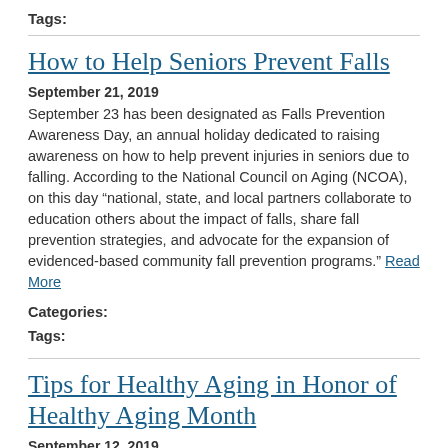Tags:
How to Help Seniors Prevent Falls
September 21, 2019
September 23 has been designated as Falls Prevention Awareness Day, an annual holiday dedicated to raising awareness on how to help prevent injuries in seniors due to falling. According to the National Council on Aging (NCOA), on this day “national, state, and local partners collaborate to education others about the impact of falls, share fall prevention strategies, and advocate for the expansion of evidenced-based community fall prevention programs.” Read More
Categories:
Tags:
Tips for Healthy Aging in Honor of Healthy Aging Month
September 12, 2019